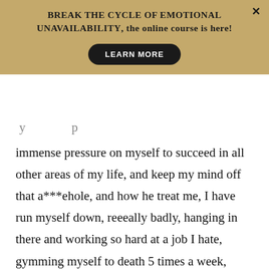BREAK THE CYCLE OF EMOTIONAL UNAVAILABILITY, the online course is here!
LEARN MORE
immense pressure on myself to succeed in all other areas of my life, and keep my mind off that a***ehole, and how he treat me, I have run myself down, reeeally badly, hanging in there and working so hard at a job I hate, gymming myself to death 5 times a week, progressing my baby horse’s training, making sure I keep